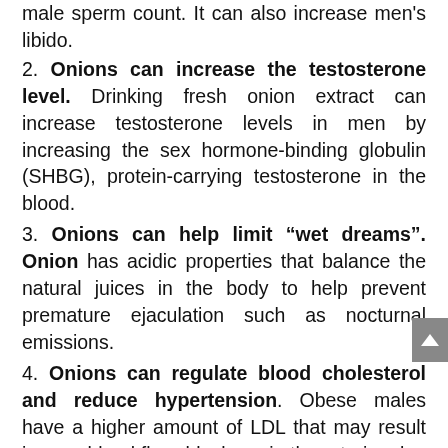male sperm count. It can also increase men's libido.
2. Onions can increase the testosterone level. Drinking fresh onion extract can increase testosterone levels in men by increasing the sex hormone-binding globulin (SHBG), protein-carrying testosterone in the blood.
3. Onions can help limit “wet dreams”. Onion has acidic properties that balance the natural juices in the body to help prevent premature ejaculation such as nocturnal emissions.
4. Onions can regulate blood cholesterol and reduce hypertension. Obese males have a higher amount of LDL that may result in poor blood flow, blockage in the arteries due to fatty deposits (atherosclerosis).